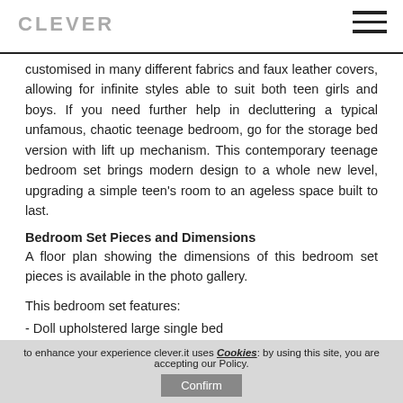CLEVER
customised in many different fabrics and faux leather covers, allowing for infinite styles able to suit both teen girls and boys. If you need further help in decluttering a typical unfamous, chaotic teenage bedroom, go for the storage bed version with lift up mechanism. This contemporary teenage bedroom set brings modern design to a whole new level, upgrading a simple teen's room to an ageless space built to last.
Bedroom Set Pieces and Dimensions
A floor plan showing the dimensions of this bedroom set pieces is available in the photo gallery.
This bedroom set features:
- Doll upholstered large single bed
to enhance your experience clever.it uses Cookies: by using this site, you are accepting our Policy. Confirm